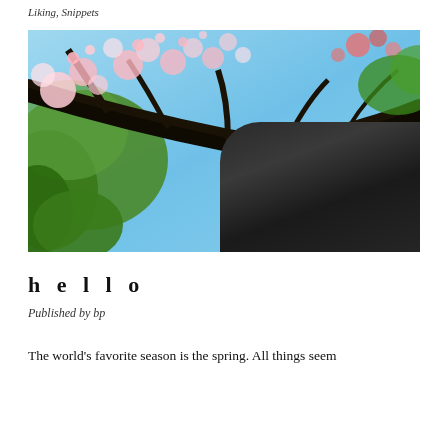Liking, Snippets
[Figure (photo): Cherry blossom tree photographed from below against a bright blue sky, with a Japanese temple roof ornament visible in the lower right corner. Pink and white blossoms fill the upper portion; dark branches cross the frame diagonally. The image is taken in an upward-looking angle.]
h e l l o
Published by bp
The world's favorite season is the spring. All things seem